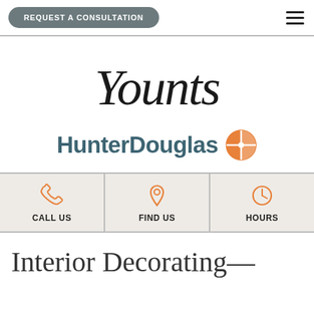REQUEST A CONSULTATION
[Figure (logo): Younts script logo in cursive/italic font]
[Figure (logo): HunterDouglas logo with orange compass icon]
CALL US | FIND US | HOURS
Interior Decorating—